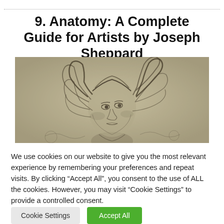9. Anatomy: A Complete Guide for Artists by Joseph Sheppard
[Figure (illustration): Pencil sketch of a woman's face with flowing hair, drawn in a classical artistic style on a textured beige background.]
We use cookies on our website to give you the most relevant experience by remembering your preferences and repeat visits. By clicking “Accept All", you consent to the use of ALL the cookies. However, you may visit "Cookie Settings" to provide a controlled consent.
Cookie Settings
Accept All